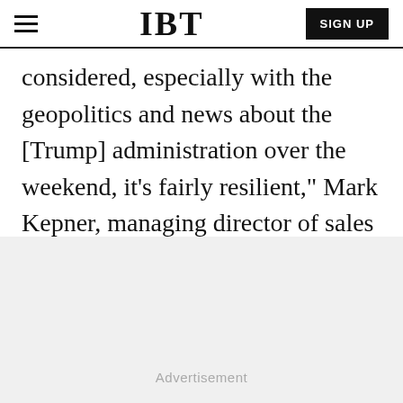IBT
considered, especially with the geopolitics and news about the [Trump] administration over the weekend, it's fairly resilient," Mark Kepner, managing director of sales and trading at Themis Trading, said to MarketWatch.
Advertisement